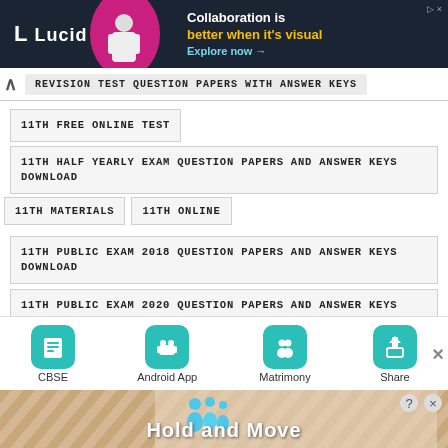[Figure (screenshot): Lucid advertisement banner: dark background with logo, person image, and text 'Collaboration is better when it's visual. Explore now →']
REVISION TEST QUESTION PAPERS WITH ANSWER KEYS
11TH FREE ONLINE TEST
11TH HALF YEARLY EXAM QUESTION PAPERS AND ANSWER KEYS DOWNLOAD
11TH MATERIALS
11TH ONLINE
11TH PUBLIC EXAM 2018 QUESTION PAPERS AND ANSWER KEYS DOWNLOAD
11TH PUBLIC EXAM 2020 QUESTION PAPERS AND ANSWER KEYS DOWNLOAD
11TH PUBLIC EXAM 2022 QUESTION PAPERS AND ANSWER KEYS DOWNLOAD
[Figure (screenshot): Bottom app bar with CBSE, Android App, Matrimony, Share buttons in teal rounded squares]
[Figure (screenshot): Bottom advertisement banner: Hold and Move, with decorative figures and striped background]